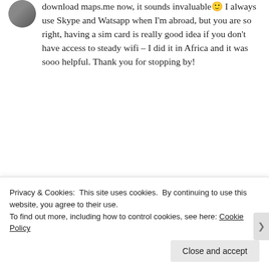download maps.me now, it sounds invaluable 🙂 I always use Skype and Watsapp when I'm abroad, but you are so right, having a sim card is really good idea if you don't have access to steady wifi – I did it in Africa and it was sooo helpful. Thank you for stopping by!
★ Like
BRINGBABYABROAD  September 4, 2016 at 3:00 pm
No problems! 🙂 I am sure you ll
Privacy & Cookies: This site uses cookies. By continuing to use this website, you agree to their use.
To find out more, including how to control cookies, see here: Cookie Policy
Close and accept